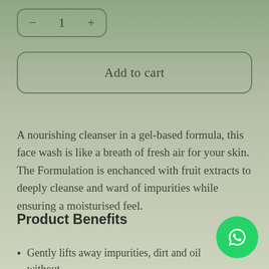[Figure (other): Quantity selector box with minus, 1, and plus buttons in a rounded rectangle border]
[Figure (other): Add to cart button — large rounded rectangle outline with text 'Add to cart']
A nourishing cleanser in a gel-based formula, this face wash is like a breath of fresh air for your skin. The Formulation is enchanced with fruit extracts to deeply cleanse and ward of impurities while ensuring a moisturised feel.
Product Benefits
Gently lifts away impurities, dirt and oil without
[Figure (other): WhatsApp chat button — green circle with WhatsApp phone/speech-bubble icon]